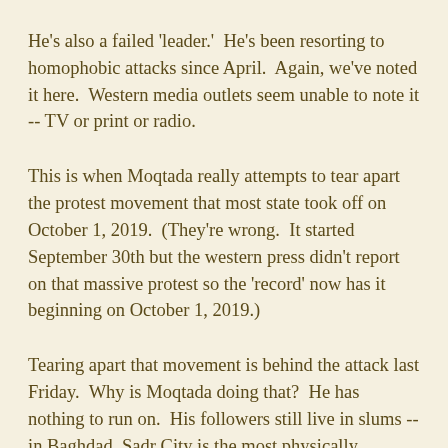He's also a failed 'leader.'  He's been resorting to homophobic attacks since April.  Again, we've noted it here.  Western media outlets seem unable to note it -- TV or print or radio.
This is when Moqtada really attempts to tear apart the protest movement that most state took off on October 1, 2019.  (They're wrong.  It started September 30th but the western press didn't report on that massive protest so the 'record' now has it beginning on October 1, 2019.)
Tearing apart that movement is behind the attack last Friday.  Why is Moqtada doing that?  He has nothing to run on.  His followers still live in slums -- in Baghdad, Sadr City is the most physically disgusting area of the city, "slum" does not begin to describe it.  Moqtada never achieved anything himself.  (I think he got accounting training when he was hiding out in Iraq at one point and working as a hotel clerk.)